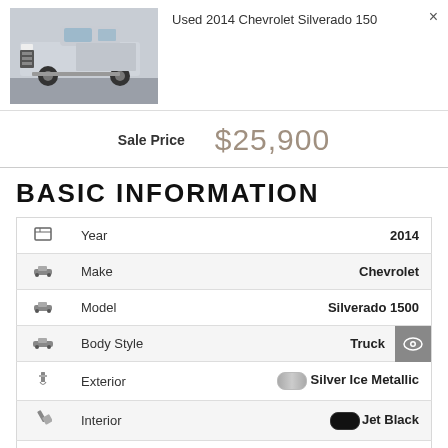[Figure (photo): Photo thumbnail of a silver Chevrolet Silverado 1500 pickup truck]
Used 2014 Chevrolet Silverado 150
Sale Price  $25,900
BASIC INFORMATION
|  | Field | Value |
| --- | --- | --- |
| [calendar icon] | Year | 2014 |
| [car icon] | Make | Chevrolet |
| [car icon] | Model | Silverado 1500 |
| [car icon] | Body Style | Truck |
| [paint icon] | Exterior | Silver Ice Metallic |
| [brush icon] | Interior | Jet Black |
| [drivetrain icon] | Drive Train | RWD |